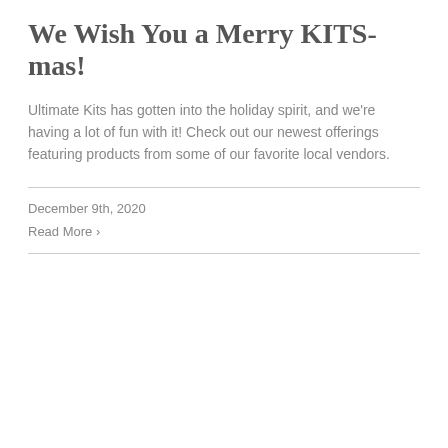We Wish You a Merry KITS-mas!
Ultimate Kits has gotten into the holiday spirit, and we're having a lot of fun with it! Check out our newest offerings featuring products from some of our favorite local vendors.
December 9th, 2020
Read More >